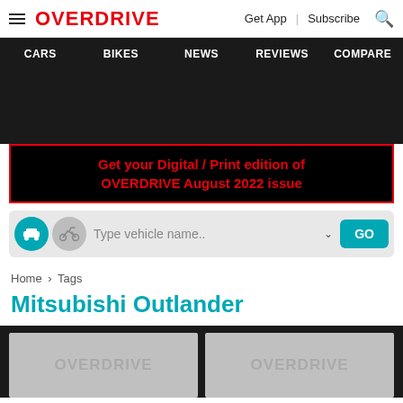OVERDRIVE | Get App | Subscribe
CARS | BIKES | NEWS | REVIEWS | COMPARE
Get your Digital / Print edition of OVERDRIVE August 2022 issue
Type vehicle name..
Home > Tags
Mitsubishi Outlander
[Figure (screenshot): Two placeholder article cards with OVERDRIVE watermark text on dark background]